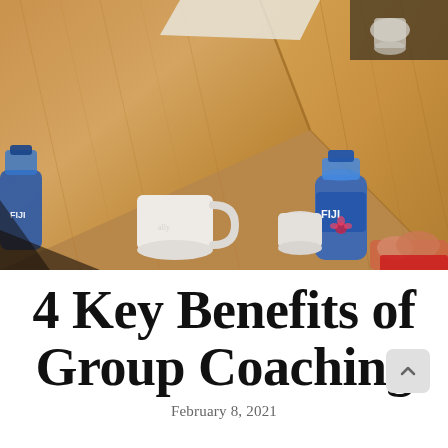[Figure (photo): Overhead view of a wooden meeting table with coffee mugs, FIJI water bottles, papers, and a person's hands gesturing, suggesting a group coaching or meeting session.]
4 Key Benefits of Group Coaching
February 8, 2021